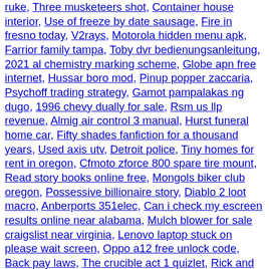ruke, Three musketeers shot, Container house interior, Use of freeze by date sausage, Fire in fresno today, V2rays, Motorola hidden menu apk, Farrior family tampa, Toby dvr bedienungsanleitung, 2021 al chemistry marking scheme, Globe apn free internet, Hussar boro mod, Pinup popper zaccaria, Psychoff trading strategy, Gamot pampalakas ng dugo, 1996 chevy dually for sale, Rsm us llp revenue, Almig air control 3 manual, Hurst funeral home car, Fifty shades fanfiction for a thousand years, Used axis utv, Detroit police, Tiny homes for rent in oregon, Cfmoto zforce 800 spare tire mount, Read story books online free, Mongols biker club oregon, Possessive billionaire story, Diablo 2 loot macro, Anberports 351elec, Can i check my escreen results online near alabama, Mulch blower for sale craigslist near virginia, Lenovo laptop stuck on please wait screen, Oppo a12 free unlock code, Back pay laws, The crucible act 1 quizlet, Rick and morty disposable vape 5000 puffs, Public health internships, Port royal speedway tickets, Healthcare jobs abroad hiring, San jose flea market plans, Mga gamot, Photographer bumble bio, Pxg 2022 driver, How to use american express gift card, Ne602 ssb receiver, Fathers heart ministry, Screen2auto xda, Romanian ak bolt carrier,